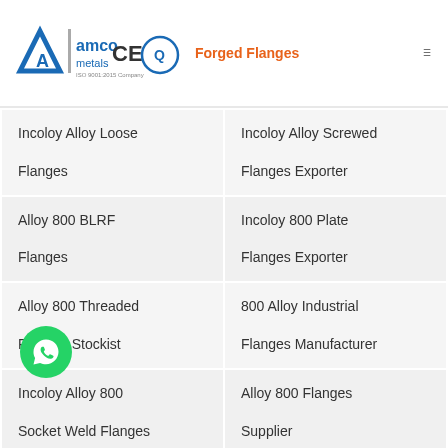amco metals | CE | Forged Flanges
| Incoloy Alloy Loose Flanges | Incoloy Alloy Screwed Flanges Exporter |
| Alloy 800 BLRF Flanges | Incoloy 800 Plate Flanges Exporter |
| Alloy 800 Threaded Flanges Stockist | 800 Alloy Industrial Flanges Manufacturer |
| Incoloy Alloy 800 Socket Weld Flanges | Alloy 800 Flanges Supplier |
| Incoloy UNS N08800 | Incoloy Werkstoff Nr. 1.4876 Buttweld |